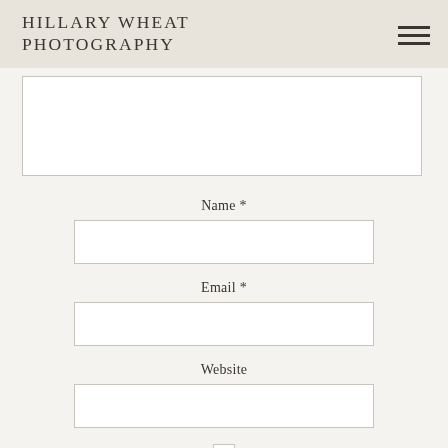HILLARY WHEAT PHOTOGRAPHY
[textarea field - empty]
Name *
[name input field - empty]
Email *
[email input field - empty]
Website
[website input field - empty]
[checkbox - unchecked]